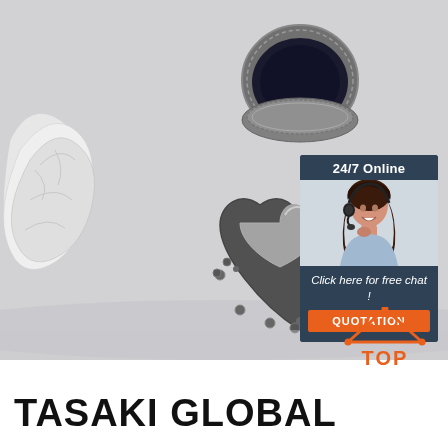[Figure (photo): Photograph of silver heart-shaped jewelry box open at top and decorated silver heart-shaped box on a light gray surface with white crumpled tissue paper]
[Figure (infographic): Chat widget overlay with dark blue background showing '24/7 Online' header, a photo of a smiling woman with headset, 'Click here for free chat!' text, and an orange QUOTATION button]
[Figure (logo): TOP logo with orange house/triangle icon with dots and orange text 'TOP']
TASAKI GLOBAL